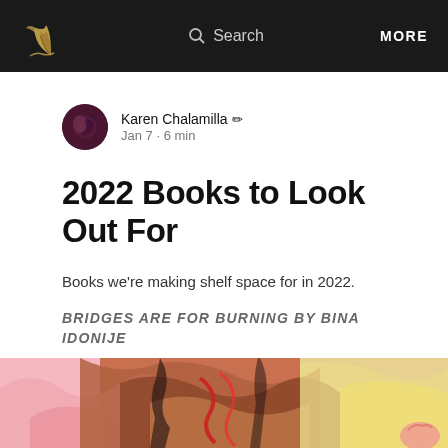Search  MORE
Karen Chalamilla  Jan 7 · 6 min
2022 Books to Look Out For
Books we're making shelf space for in 2022.
BRIDGES ARE FOR BURNING BY BINA IDONIJE
[Figure (illustration): Colorful illustrated book cover showing stylized wavy abstract shapes in pink, brown/tan, and cream tones, partially visible at bottom of page]